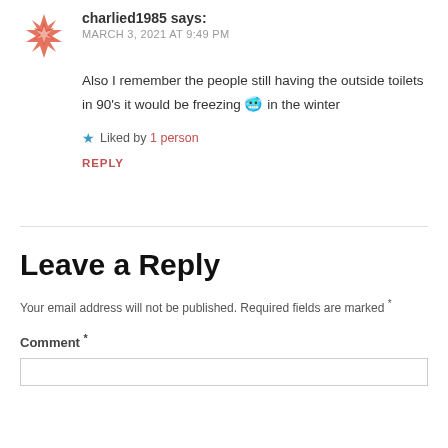charlied1985 says:
MARCH 3, 2021 AT 9:49 PM
Also I remember the people still having the outside toilets in 90’s it would be freezing 😺 in the winter
★ Liked by 1 person
REPLY
Leave a Reply
Your email address will not be published. Required fields are marked *
Comment *